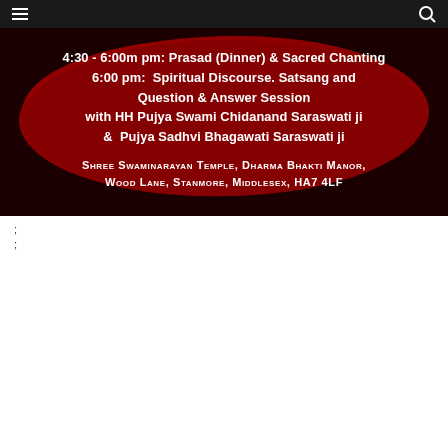Navigation bar with hamburger menu and search icon
[Figure (infographic): Dark red banner with white text announcing a spiritual event schedule: 4:30 - 6:00m pm: Prasad (Dinner) & Sacred Chanting; 6:00 pm: Spiritual Discourse. Satsang and Question & Answer Session with HH Pujya Swami Chidanand Saraswati ji & Pujya Sadhvi Bhagawati Saraswati ji; Venue: Shree Swaminarayan Temple, Dharma Bhakti Manor, Wood Lane, Stanmore, Middlesex, HA7 4LF]
;